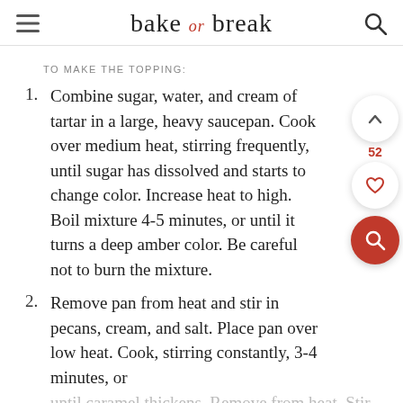bake or break
TO MAKE THE TOPPING:
Combine sugar, water, and cream of tartar in a large, heavy saucepan. Cook over medium heat, stirring frequently, until sugar has dissolved and starts to change color. Increase heat to high. Boil mixture 4-5 minutes, or until it turns a deep amber color. Be careful not to burn the mixture.
Remove pan from heat and stir in pecans, cream, and salt. Place pan over low heat. Cook, stirring constantly, 3-4 minutes, or
until caramel thickens. Remove from heat. Stir in bourbon. Set aside and keep warm if